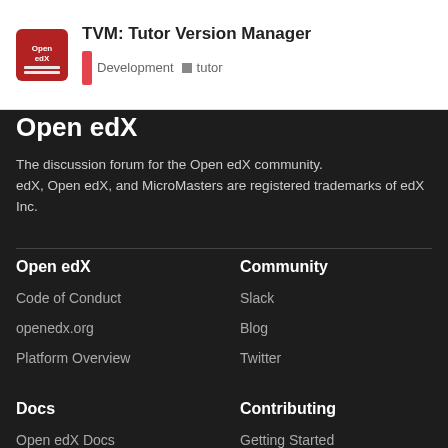TVM: Tutor Version Manager — Development · tutor
Open edX
The discussion forum for the Open edX community. edX, Open edX, and MicroMasters are registered trademarks of edX Inc.
Open edX
Code of Conduct
openedx.org
Platform Overview
Community
Slack
Blog
Twitter
Docs
Open edX Docs
Open edX Answers
Contributing
Getting Started
GitHub